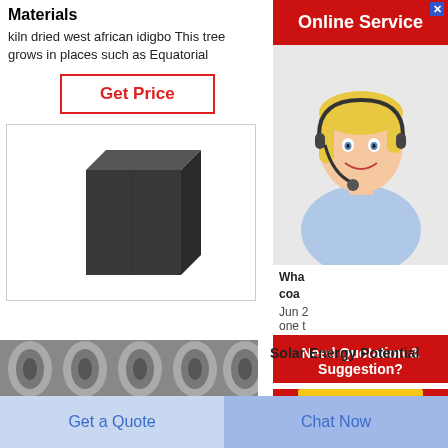Materials
kiln dried west african idigbo This tree grows in places such as Equatorial
Get Price
[Figure (photo): Dark gray rectangular block (kiln dried west african idigbo wood or similar material)]
[Figure (screenshot): Online Service ad with agent photo, Need Quotation & Suggestion? Free Chat button]
Wha
coa
Jun 2
one t
[Figure (photo): Rolls of metallic material, partially visible at bottom]
Solar Energy Potential
Get a Quote
Chat Now